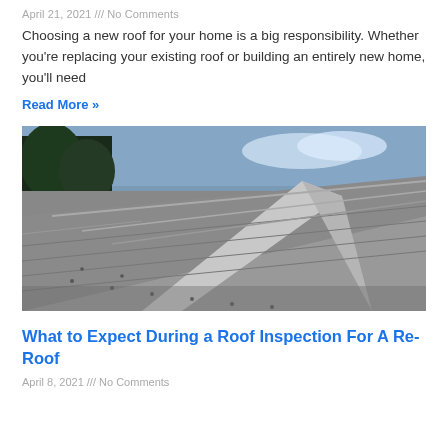April 21, 2021 /// No Comments
Choosing a new roof for your home is a big responsibility. Whether you're replacing your existing roof or building an entirely new home, you'll need
Read More »
[Figure (photo): Close-up aerial view of a metal roof with standing seam panels, showing ridge lines and screws, with trees and sky visible in background]
What to Expect During a Roof Inspection For A Re-Roof
April 8, 2021 /// No Comments